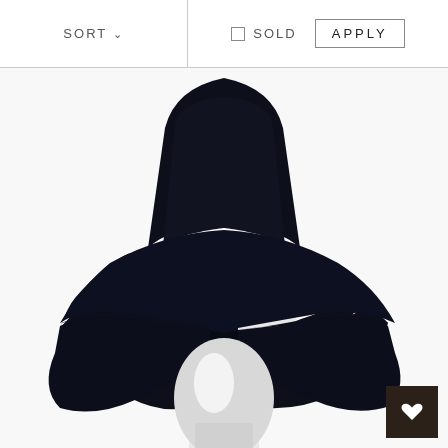SORT ∨
☐ SOLD
APPLY
[Figure (photo): A dark navy/black wide-brim floppy hat displayed on a white mannequin head against a white background. The hat has a large, drooping brim that extends wide on both sides.]